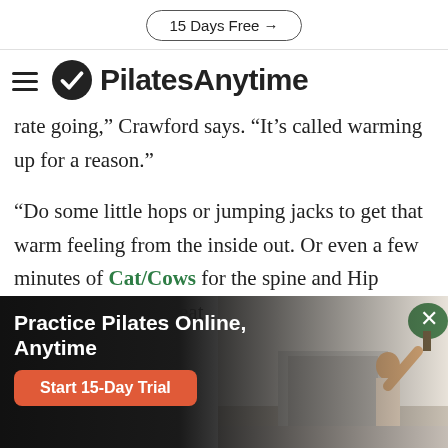15 Days Free →
[Figure (logo): PilatesAnytime logo with hamburger menu icon and circular checkmark icon]
rate going," Crawford says. "It's called warming up for a reason."
"Do some little hops or jumping jacks to get that warm feeling from the inside out. Or even a few minutes of Cat/Cows for the spine and Hip Circles would be great.
[Figure (photo): Promotional banner overlay: Practice Pilates Online, Anytime — with Start 15-Day Trial button and photo of woman doing Pilates]